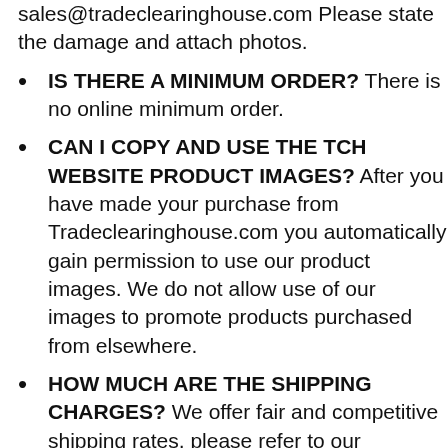sales@tradeclearinghouse.com Please state the damage and attach photos.
IS THERE A MINIMUM ORDER? There is no online minimum order.
CAN I COPY AND USE THE TCH WEBSITE PRODUCT IMAGES? After you have made your purchase from Tradeclearinghouse.com you automatically gain permission to use our product images. We do not allow use of our images to promote products purchased from elsewhere.
HOW MUCH ARE THE SHIPPING CHARGES? We offer fair and competitive shipping rates, please refer to our "Shipping Charges" page.
CAN I GET FREE SHIPPING? We do not operate a free shipping programme in order to keep our product prices as low and fair as possible. The companies that do offer free shipping are simply adding those charges to